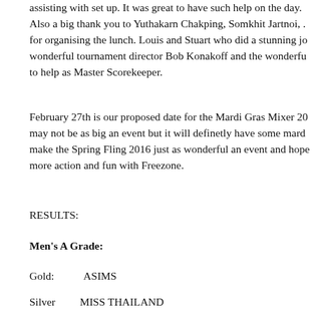assisting with set up. It was great to have such help on the day. Also a big thank you to Yuthakarn Chakping, Somkhit Jartnoi, for organising the lunch. Louis and Stuart who did a stunning jo wonderful tournament director Bob Konakoff and the wonderfu to help as Master Scorekeeper.
February 27th is our proposed date for the Mardi Gras Mixer 20 may not be as big an event but it will definetly have some mard make the Spring Fling 2016 just as wonderful an event and hope more action and fun with Freezone.
RESULTS:
Men's A Grade:
Gold:          ASIMS
Silver         MISS THAILAND